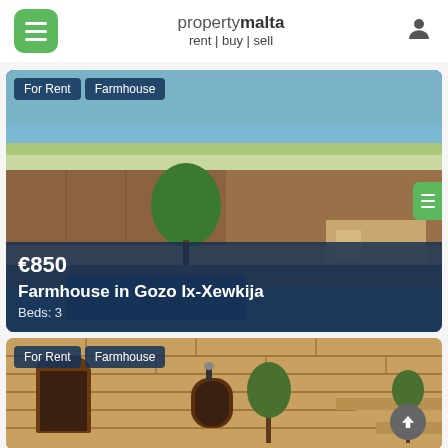propertymalta rent | buy | sell
[Figure (photo): Aerial farmhouse property with pool in Gozo Malta, agricultural fields in background with sea view, tags: For Rent, Farmhouse. Price €850, title: Farmhouse in Gozo Ix-Xewkija, Beds: 3]
[Figure (photo): Stone farmhouse courtyard with arched windows in Malta, tags: For Rent, Farmhouse]